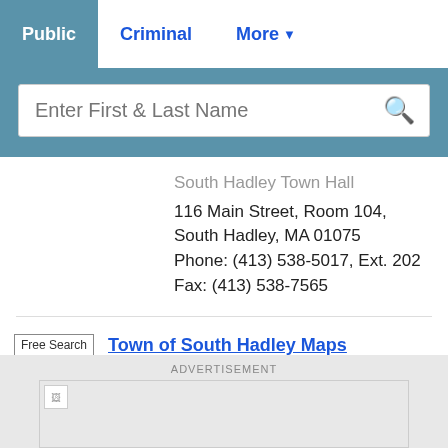Public | Criminal | More
Enter First & Last Name
South Hadley Town Hall
116 Main Street, Room 104, South Hadley, MA 01075
Phone: (413) 538-5017, Ext. 202 Fax: (413) 538-7565
Free Search
Town of South Hadley Maps
View various Town of South Hadley maps including census, historic resources, fire districts, parks and facilities, streets, and zoning districts.
ADVERTISEMENT